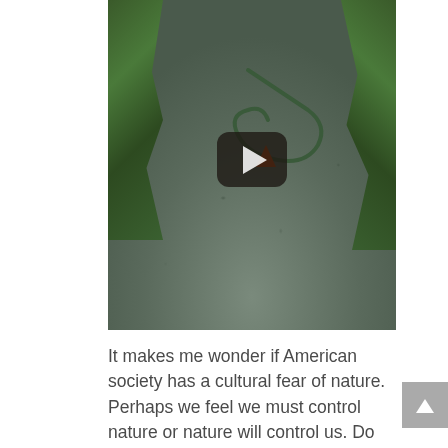[Figure (screenshot): A YouTube video thumbnail showing a gravel garden path with plants and rocks on either side, a garden hose coiled on the ground, an orange cone, and a large play button overlay. The path leads away from the viewer. The image has a dark, muted color palette.]
It makes me wonder if American society has a cultural fear of nature. Perhaps we feel we must control nature or nature will control us. Do